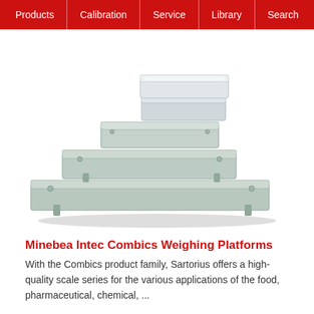Products | Calibration | Service | Library | Search
[Figure (photo): Stacked Minebea Intec Combics weighing platforms of various sizes, shown in silver/grey metallic finish, arranged in ascending size from top to bottom on a white background.]
Minebea Intec Combics Weighing Platforms
With the Combics product family, Sartorius offers a high-quality scale series for the various applications of the food, pharmaceutical, chemical, ...